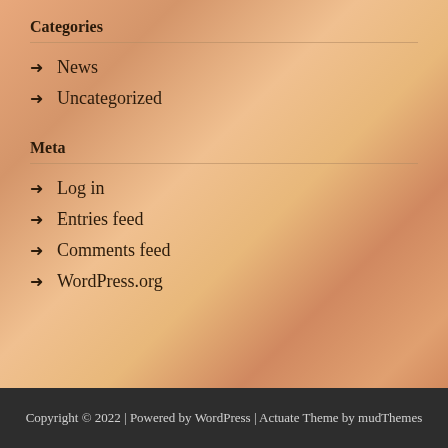Categories
News
Uncategorized
Meta
Log in
Entries feed
Comments feed
WordPress.org
Copyright © 2022 | Powered by WordPress | Actuate Theme by mudThemes